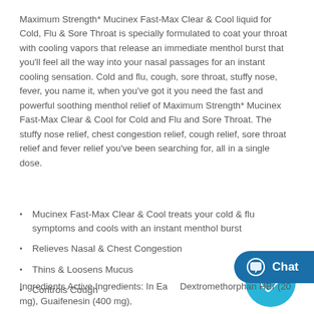Maximum Strength* Mucinex Fast-Max Clear & Cool liquid for Cold, Flu & Sore Throat is specially formulated to coat your throat with cooling vapors that release an immediate menthol burst that you'll feel all the way into your nasal passages for an instant cooling sensation. Cold and flu, cough, sore throat, stuffy nose, fever, you name it, when you've got it you need the fast and powerful soothing menthol relief of Maximum Strength* Mucinex Fast-Max Clear & Cool for Cold and Flu and Sore Throat. The stuffy nose relief, chest congestion relief, cough relief, sore throat relief and fever relief you've been searching for, all in a single dose.
Mucinex Fast-Max Clear & Cool treats your cold & flu symptoms and cools with an instant menthol burst
Relieves Nasal & Chest Congestion
Thins & Loosens Mucus
Controls Cough
[Figure (other): Circular teal badge with a tag/label icon (price tag with heart)]
[Figure (other): Dark blue chat button with speech bubble icon and 'Chat' label]
Ingredients Active Ingredients: In Ea... Dextromethorphan HBr (20 mg), Guaifenesin (400 mg),